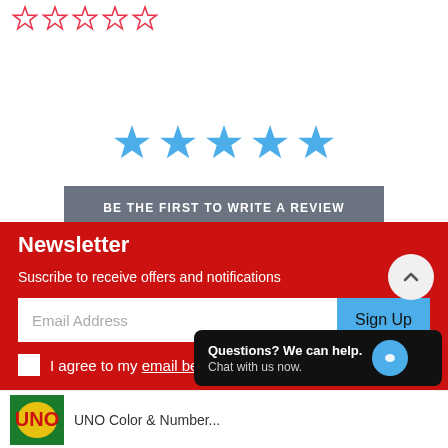[Figure (other): Five red outline star rating icons (empty/unfilled) shown in a row at top of page]
[Figure (other): Five solid blue star rating icons shown in a row in the center of page]
BE THE FIRST TO WRITE A REVIEW
Newsletter
Suscribe to receive offers and notifications
Email Address
Sign Up
I agree to my email being sto...
Questions? We can help. Chat with us now.
UNO Color & Number...